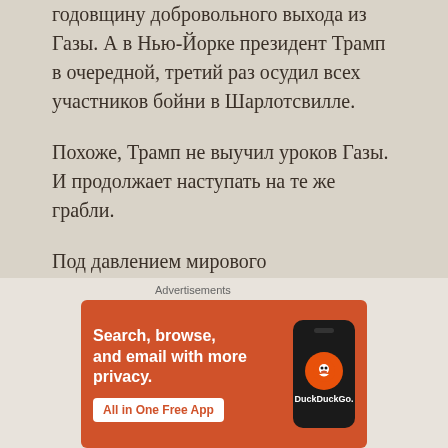годовщину добровольного выхода из Газы. А в Нью-Йорке президент Трамп в очередной, третий раз осудил всех участников бойни в Шарлотсвилле.
Похоже, Трамп не выучил уроков Газы. И продолжает наступать на те же грабли.
Под давлением мирового «прогрессивного человечества» в 2005 году Израиль принял решение о выводе войск и
Advertisements
[Figure (infographic): DuckDuckGo advertisement banner: orange background with text 'Search, browse, and email with more privacy. All in One Free App' alongside a smartphone showing the DuckDuckGo logo and brand name.]